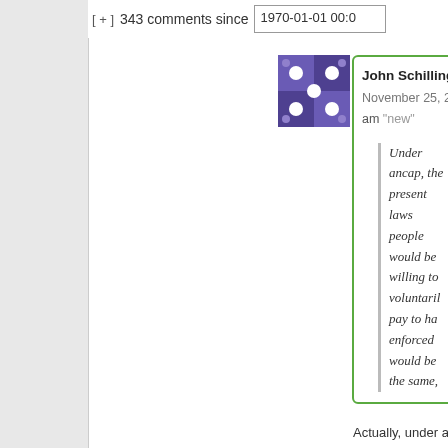[ + ] 343 comments since 1970-01-01 00:0
[Figure (other): Purple pixel-art avatar icon with a symmetric pattern of white dots on dark purple squares]
John Schilling sa...
November 25, 2017
am "new"
Under ancap, the present laws people would be willing to voluntarily pay to have enforced would be the same,
Actually, under an